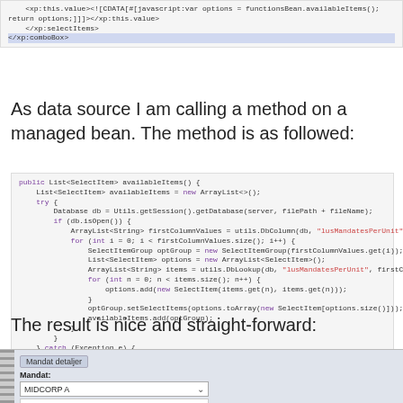[Figure (screenshot): Code snippet showing XML for xp:comboBox with CDATA javascript and xp:selectItems tags]
As data source I am calling a method on a managed bean. The method is as followed:
[Figure (screenshot): Java code block showing public List<SelectItem> availableItems() method with database lookup and SelectItemGroup building logic]
The result is nice and straight-forward:
[Figure (screenshot): UI screenshot showing Mandat detaljer panel with Mandat label, MIDCORP A dropdown selected, and a second dropdown below]